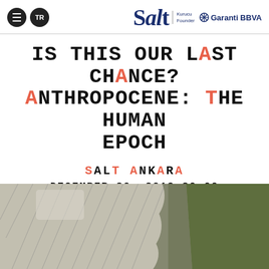Salt | Kurucu Founder | Garanti BBVA
IS THIS OUR LAST CHANCE? ANTHROPOCENE: THE HUMAN EPOCH
SALT ANKARA
DECEMBER 20, 2019 20.00
[Figure (photo): Aerial photograph showing contrast between grey/white industrial or geological terrain on the left and olive green landscape on the right]